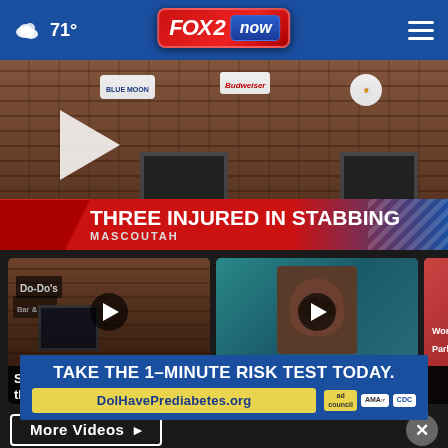71° FOX 2 now
[Figure (screenshot): Hero video thumbnail showing brick building exterior with bar signs (Blue Moon, Budweiser, Corona). Lower-third overlay reads: THREE INJURED IN STABBING / MASCOUTAH]
THREE INJURED IN STABBING
MASCOUTAH
[Figure (screenshot): Video card thumbnail: brick building with Do-Do's bar sign. Play button overlay. Caption: Suspect accused of stabbing three people... / 2 hours ago]
Suspect accused of stabbing three people...
2 hours ago
[Figure (screenshot): Video card thumbnail: mug shot of a man on teal background. Play button overlay. Caption: Hazelwood murder suspect considered... / 2 hours ago]
Hazelwood murder suspect considered...
2 hours ago
[Figure (screenshot): Partially visible third video card thumbnail (cropped). Caption text: World... Park n...]
World
Park n
More Videos ▶
TAKE THE 1-MINUTE RISK TEST TODAY.
DoIHavePrediabetes.org
[Figure (logo): Ad Council logo, AMA logo, CDC logo]